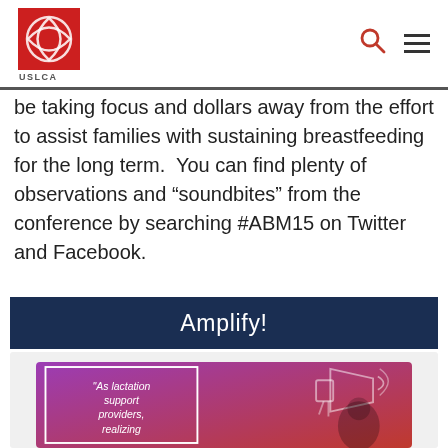USLCA logo with search and menu icons
be taking focus and dollars away from the effort to assist families with sustaining breastfeeding for the long term.  You can find plenty of observations and “soundbites” from the conference by searching #ABM15 on Twitter and Facebook.
Amplify!
[Figure (illustration): Promotional graphic with purple gradient background, megaphone illustration, and quote text reading 'As lactation support providers, realizing' with a person visible on the right side]